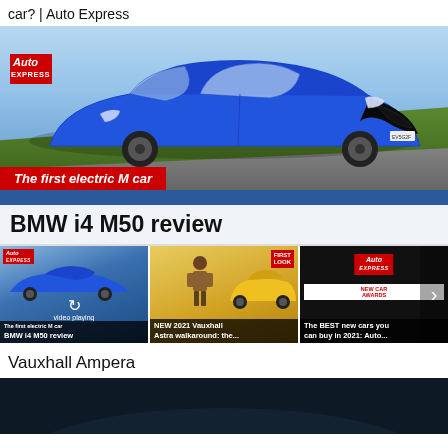car? | Auto Express
[Figure (screenshot): Auto Express magazine cover showing a blue BMW i4 M50 electric car with text 'The first electric M car' in red banner and 'BMW i4 M50 review' in white/black banner at bottom]
[Figure (screenshot): Three video thumbnails: 1) BMW i4 M50 review video playing, 2) NEW 2021 Vauxhall Astra walkaround with First Look badge, 3) The BEST new cars you can buy in 2021: Auto Express new car awards]
Vauxhall Ampera
[Figure (photo): Dark image of a car, partially visible at bottom of page]